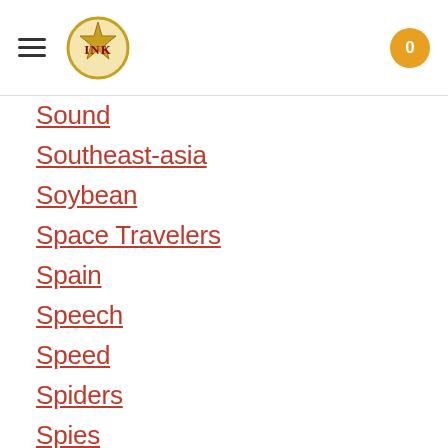INK [logo] 0
Sound
Southeast-asia
Soybean
Space Travelers
Spain
Speech
Speed
Spiders
Spies
Spiritualssongs
Sports
Sports-history
Sports-science
Spring
Squirrels